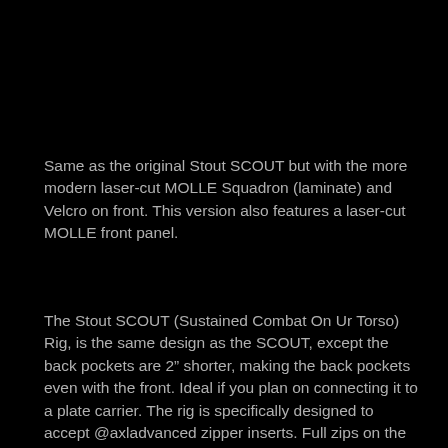Same as the original Stout SCOUT but with the more modern laser-cut MOLLE Squadron (laminate) and Velcro on front. This version also features a laser-cut MOLLE front panel.
The Stout SCOUT (Sustained Combat On Ur Torso) Rig, is the same design as the SCOUT, except the back pockets are 2" shorter, making the back pockets even with the front. Ideal if you plan on connecting it to a plate carrier. The rig is specifically designed to accept @axladvanced zipper inserts. Full zips on the front and half zips on the sides, for up to 4 half zips and 2 full zips. The front pouch of the rig is a massive “trough”